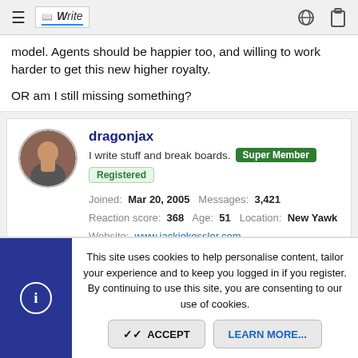AbsoluteWrite — navigation header
model. Agents should be happier too, and willing to work harder to get this new higher royalty.

OR am I still missing something?
dragonjax
I write stuff and break boards. Super Member Registered
Joined: Mar 20, 2005  Messages: 3,421
Reaction score: 368  Age: 51  Location: New Yawk
Website: www.jackiekessler.com
Feb 4, 2010  #242
This site uses cookies to help personalise content, tailor your experience and to keep you logged in if you register.
By continuing to use this site, you are consenting to our use of cookies.